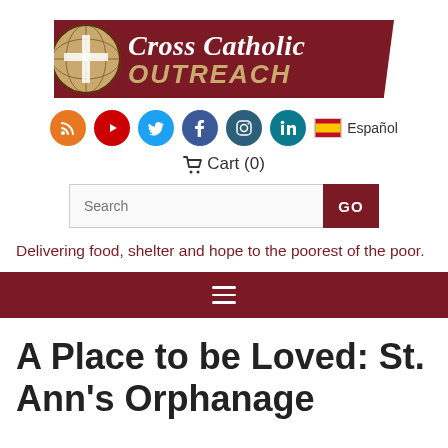[Figure (logo): Cross Catholic Outreach logo — dark red banner with globe/cross icon and text 'Cross Catholic OUTREACH']
[Figure (infographic): Social media icons row: RSS (orange), YouTube (red), Twitter (blue), Facebook (dark blue), Instagram (teal), LinkedIn (teal), and Spanish flag with 'Español' text]
Cart (0)
[Figure (screenshot): Search bar with text field labeled 'Search' and a dark red GO button]
Delivering food, shelter and hope to the poorest of the poor.
[Figure (infographic): Dark red navigation bar with hamburger menu icon (three horizontal lines)]
A Place to be Loved: St. Ann's Orphanage